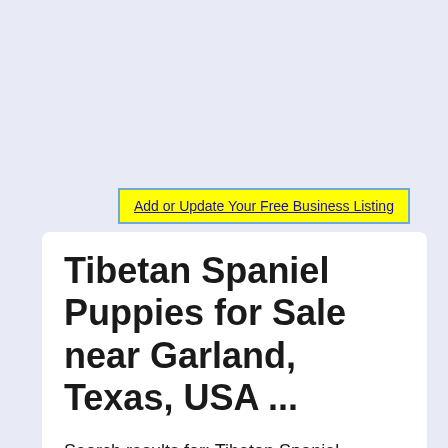Add or Update Your Free Business Listing
Tibetan Spaniel Puppies for Sale near Garland, Texas, USA ...
Search results for: Tibetan Spaniel puppies and dogs for sale near Garland, Texas, USA area on Puppyfinder.com More